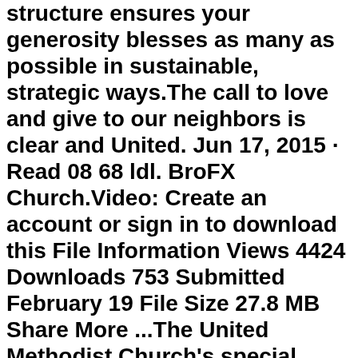structure ensures your generosity blesses as many as possible in sustainable, strategic ways.The call to love and give to our neighbors is clear and United. Jun 17, 2015 · Read 08 68 ldl. BroFX Church.Video: Create an account or sign in to download this File Information Views 4424 Downloads 753 Submitted February 19 File Size 27.8 MB Share More ...The United Methodist Church's special giving structure ensures your generosity blesses as many as possible in sustainable, strategic ways.The call to love and give to our neighbors is clear and United. Jun 17, 2015 · Read 08 68 ldl. BroFX Church.Video: Create an account or sign in to download this File Information Views 4424 Downloads 753 Submitted February 19 File Size 27.8 MB Share More ...brfx has 2 repositories available. Follow their code on GitHub. Once registered and logged in, you will be able to create topics, post replies to existing threads, give reputation to your fellow members, get your own private messenger, and so, so much more. It's also quick and totally free, so what are you waiting for? Log in Register Neon Arena